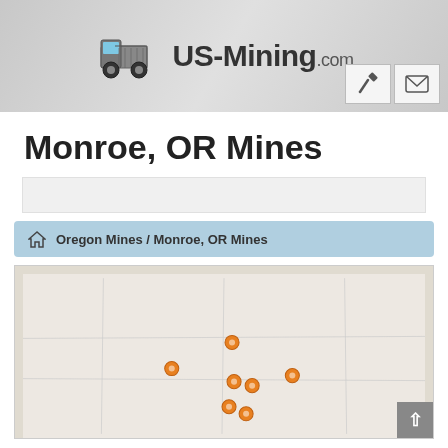[Figure (logo): US-Mining.com website logo with dump truck icon and site name]
Monroe, OR Mines
Oregon Mines / Monroe, OR Mines
[Figure (map): Map showing mine locations near Monroe, OR with orange dot markers scattered across the map area]